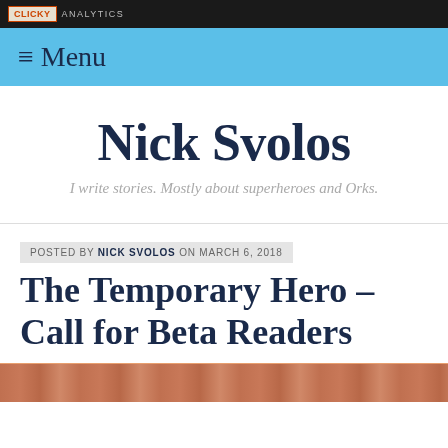CLICKY ANALYTICS
≡ Menu
Nick Svolos
I write stories. Mostly about superheroes and Orks.
POSTED BY NICK SVOLOS ON MARCH 6, 2018
The Temporary Hero – Call for Beta Readers
[Figure (photo): Bottom image strip showing a partial photo]